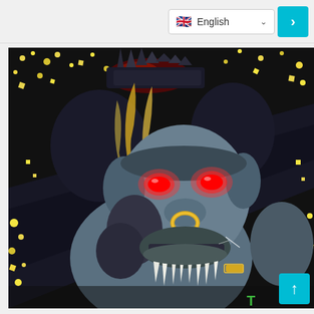[Figure (screenshot): Web page screenshot showing a language selector dropdown with English and UK flag, a teal next arrow button, and a game artwork illustration of a menacing gorilla/monster character with red glowing eyes, gold nose ring, white fangs/tusks, wearing dark armor with yellow/gold energy effects and particles against a dark background. A teal scroll-up button is visible at the bottom right.]